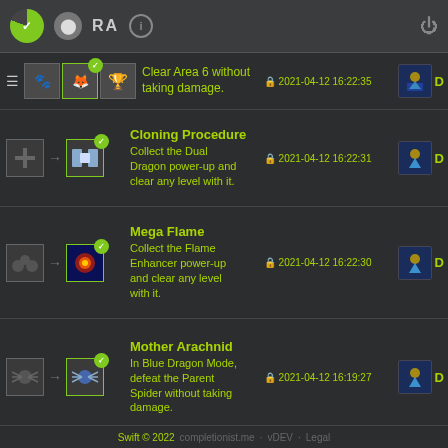RA i [power icon]
Clear Area 6 without taking damage. | 2021-04-12 16:22:35 | D
Cloning Procedure | Collect the Dual Dragon power-up and clear any level with it. | 2021-04-12 16:22:31 | D
Mega Flame | Collect the Flame Enhancer power-up and clear any level with it. | 2021-04-12 16:22:30 | D
Mother Arachnid | In Blue Dragon Mode, defeat the Parent Spider without taking damage. | 2021-04-12 16:19:27 | D
Swift © 2022 completionist.me · vDEV · Legal